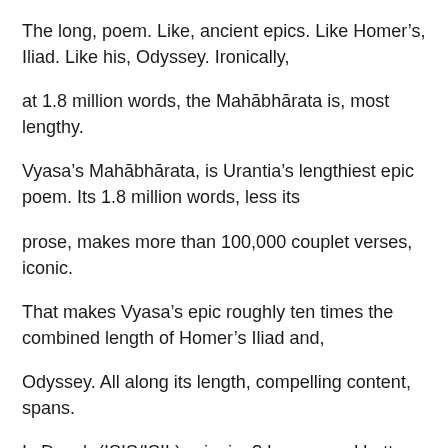The long, poem. Like, ancient epics. Like Homer's, Iliad. Like his, Odyssey. Ironically,
at 1.8 million words, the Mahābhārata is, most lengthy.
Vyasa's Mahābhārata, is Urantia's lengthiest epic poem. Its 1.8 million words, less its
prose, makes more than 100,000 couplet verses, iconic.
That makes Vyasa's epic roughly ten times the combined length of Homer's Iliad and,
Odyssey. All along its length, compelling content, spans.
Is Daesh (ISIS/ISIL), winning? Larger, and better, questions are: Is humanity, winning?